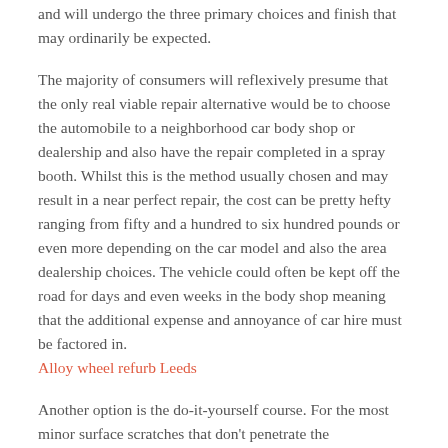and will undergo the three primary choices and finish that may ordinarily be expected.
The majority of consumers will reflexively presume that the only real viable repair alternative would be to choose the automobile to a neighborhood car body shop or dealership and also have the repair completed in a spray booth. Whilst this is the method usually chosen and may result in a near perfect repair, the cost can be pretty hefty ranging from fifty and a hundred to six hundred pounds or even more depending on the car model and also the area dealership choices. The vehicle could often be kept off the road for days and even weeks in the body shop meaning that the additional expense and annoyance of car hire must be factored in. Alloy wheel refurb Leeds
Another option is the do-it-yourself course. For the most minor surface scratches that don't penetrate the